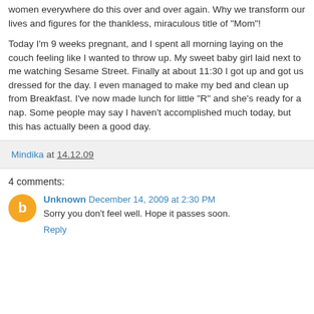women everywhere do this over and over again. Why we transform our lives and figures for the thankless, miraculous title of "Mom"!
Today I'm 9 weeks pregnant, and I spent all morning laying on the couch feeling like I wanted to throw up. My sweet baby girl laid next to me watching Sesame Street. Finally at about 11:30 I got up and got us dressed for the day. I even managed to make my bed and clean up from Breakfast. I've now made lunch for little "R" and she's ready for a nap. Some people may say I haven't accomplished much today, but this has actually been a good day.
Mindika at 14.12.09
4 comments:
Unknown December 14, 2009 at 2:30 PM
Sorry you don't feel well. Hope it passes soon.
Reply